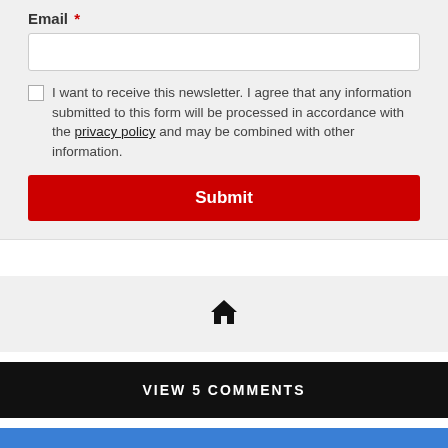Email *
I want to receive this newsletter. I agree that any information submitted to this form will be processed in accordance with the privacy policy and may be combined with other information.
Submit
[Figure (illustration): Home icon (house silhouette)]
VIEW 5 COMMENTS
CONTACT US